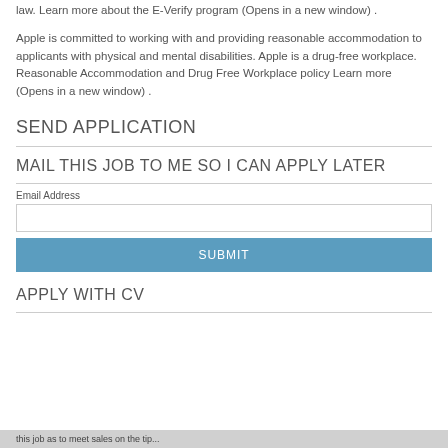law. Learn more about the E-Verify program (Opens in a new window) .
Apple is committed to working with and providing reasonable accommodation to applicants with physical and mental disabilities. Apple is a drug-free workplace. Reasonable Accommodation and Drug Free Workplace policy Learn more (Opens in a new window) .
SEND APPLICATION
MAIL THIS JOB TO ME SO I CAN APPLY LATER
Email Address
APPLY WITH CV
this job as to meet sales on the tip...